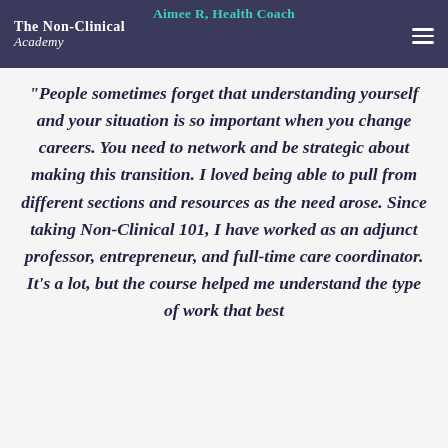Aimee R, Health Coach | The Non-Clinical Academy
"People sometimes forget that understanding yourself and your situation is so important when you change careers. You need to network and be strategic about making this transition. I loved being able to pull from different sections and resources as the need arose. Since taking Non-Clinical 101, I have worked as an adjunct professor, entrepreneur, and full-time care coordinator. It's a lot, but the course helped me understand the type of work that best...